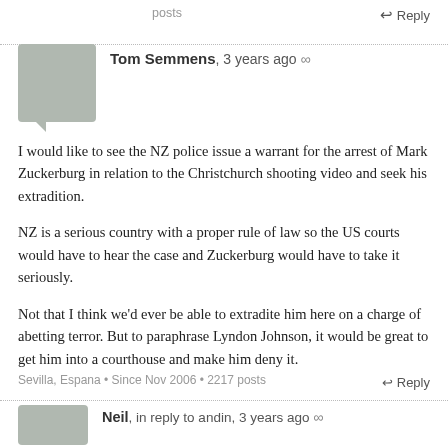posts
↵ Reply
Tom Semmens, 3 years ago ∞
I would like to see the NZ police issue a warrant for the arrest of Mark Zuckerburg in relation to the Christchurch shooting video and seek his extradition.
NZ is a serious country with a proper rule of law so the US courts would have to hear the case and Zuckerburg would have to take it seriously.
Not that I think we'd ever be able to extradite him here on a charge of abetting terror. But to paraphrase Lyndon Johnson, it would be great to get him into a courthouse and make him deny it.
Sevilla, Espana • Since Nov 2006 • 2217 posts
↵ Reply
Neil, in reply to andin, 3 years ago ∞